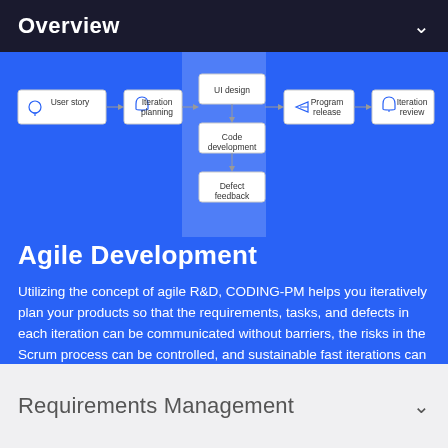Overview
[Figure (flowchart): Agile development process flowchart showing: User story → Iteration planning → UI design → Code development → Defect feedback → Program release → Iteration review]
Agile Development
Utilizing the concept of agile R&D, CODING-PM helps you iteratively plan your products so that the requirements, tasks, and defects in each iteration can be communicated without barriers, the risks in the Scrum process can be controlled, and sustainable fast iterations can be achieved.
Requirements Management